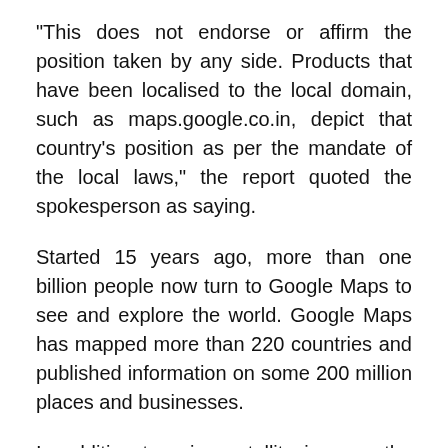“This does not endorse or affirm the position taken by any side. Products that have been localised to the local domain, such as maps.google.co.in, depict that country’s position as per the mandate of the local laws,” the report quoted the spokesperson as saying.
Started 15 years ago, more than one billion people now turn to Google Maps to see and explore the world. Google Maps has mapped more than 220 countries and published information on some 200 million places and businesses.
In addition to using satellite images, the platform also makes use of contributions made by volunteers and advanced technologies such as Artificial Intelligence and Machine Learning for its map creation activities.
While Google dominates the mobile map market, Apple Maps ranks second in terms of popularity.